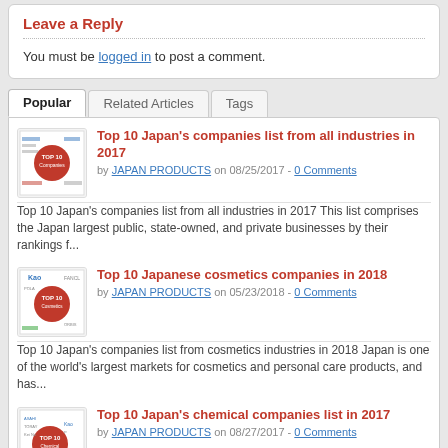Leave a Reply
You must be logged in to post a comment.
Popular
Related Articles
Tags
Top 10 Japan's companies list from all industries in 2017
by JAPAN PRODUCTS on 08/25/2017 - 0 Comments
Top 10 Japan's companies list from all industries in 2017 This list comprises the Japan largest public, state-owned, and private businesses by their rankings f...
Top 10 Japanese cosmetics companies in 2018
by JAPAN PRODUCTS on 05/23/2018 - 0 Comments
Top 10 Japan's companies list from cosmetics industries in 2018 Japan is one of the world's largest markets for cosmetics and personal care products, and has...
Top 10 Japan's chemical companies list in 2017
by JAPAN PRODUCTS on 08/27/2017 - 0 Comments
Top 10 Japan's companies list from chemical industries in 2017 In Japan, 860,000 people work in